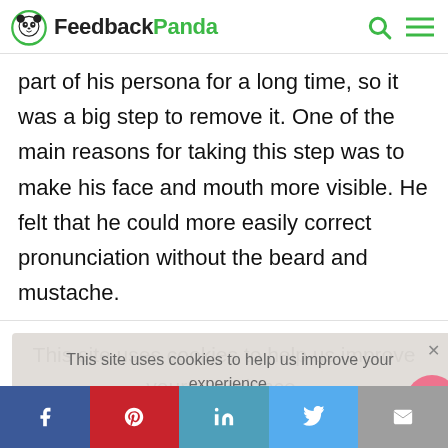FeedbackPanda
part of his persona for a long time, so it was a big step to remove it. One of the main reasons for taking this step was to make his face and mouth more visible. He felt that he could more easily correct pronunciation without the beard and mustache.
This site uses cookies to help us improve your experience.
Social share bar: Facebook, Pinterest, LinkedIn, Twitter, Email